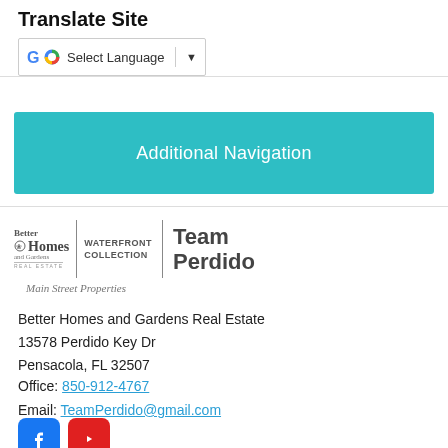Translate Site
[Figure (screenshot): Google Translate widget showing 'Select Language' dropdown with G logo]
[Figure (other): Additional Navigation teal/turquoise button]
[Figure (logo): Better Homes and Gardens Real Estate Waterfront Collection Main Street Properties logo with Team Perdido branding]
Better Homes and Gardens Real Estate
13578 Perdido Key Dr
Pensacola, FL 32507
Office: 850-912-4767
Email: TeamPerdido@gmail.com
[Figure (other): Facebook and YouTube social media icons]